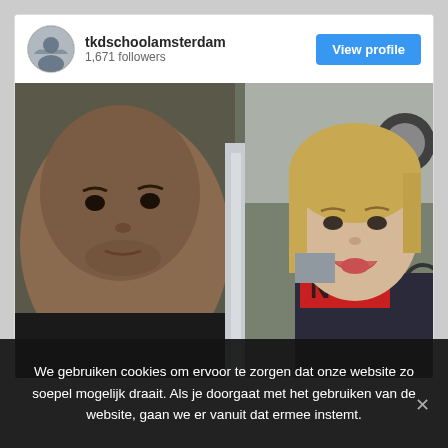tkdschoolamsterdam
1,671 followers
View profile
[Figure (photo): Selfie of two people: a bald man on the left looking seriously at the camera, and a blonde woman on the right making a pouty face. The woman wears a red top with 'NO' text and a dark jacket. Background shows a door and outdoor elements.]
We gebruiken cookies om ervoor te zorgen dat onze website zo soepel mogelijk draait. Als je doorgaat met het gebruiken van de website, gaan we er vanuit dat ermee instemt.